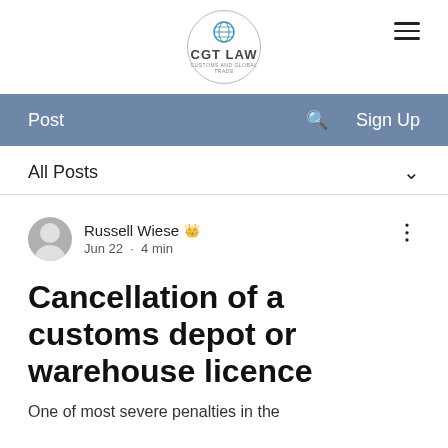[Figure (logo): CGT Law logo — circular badge with globe icon, text 'CGT LAW' and subtitle 'CUSTOMS AND GLOBAL TRADE']
Post   🔍   Sign Up
All Posts
Russell Wiese 👑  Jun 22  ·  4 min
Cancellation of a customs depot or warehouse licence
One of most severe penalties in the